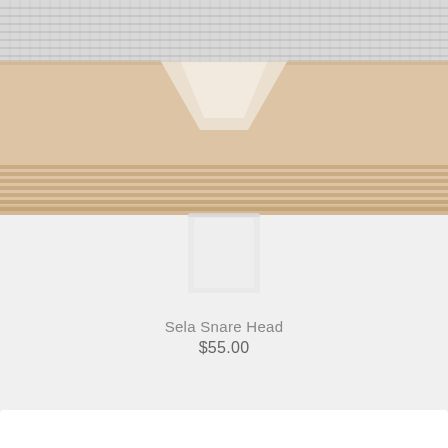[Figure (photo): Close-up photograph of a Sela Snare Head drum component. The top portion shows a metallic wire/mesh snare stretched across the drum head, with a warm beige/wood-toned drum shell body below featuring horizontal ridged lines. A white translucent rectangular lug or component hangs below the drum shell, visible against a light gray background.]
Sela Snare Head
$55.00